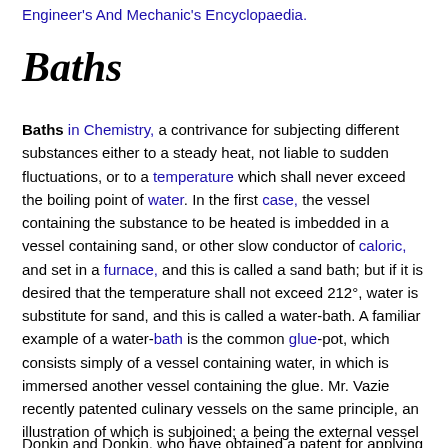Engineer's And Mechanic's Encyclopaedia.
Baths
Baths in Chemistry, a contrivance for subjecting different substances either to a steady heat, not liable to sudden fluctuations, or to a temperature which shall never exceed the boiling point of water. In the first case, the vessel containing the substance to be heated is imbedded in a vessel containing sand, or other slow conductor of caloric, and set in a furnace, and this is called a sand bath; but if it is desired that the temperature shall not exceed 212°, water is substitute for sand, and this is called a water-bath. A familiar example of a water-bath is the common glue-pot, which consists simply of a vessel containing water, in which is immersed another vessel containing the glue. Mr. Vazie recently patented culinary vessels on the same principle, an illustration of which is subjoined; a being the external vessel containing water; b the internal vessel containing the food; and c the cover. The principle of this method of limiting the temperature has received a more extensive application, by Messrs.
Donkin and Donkin, who have obtained a patent for applying it